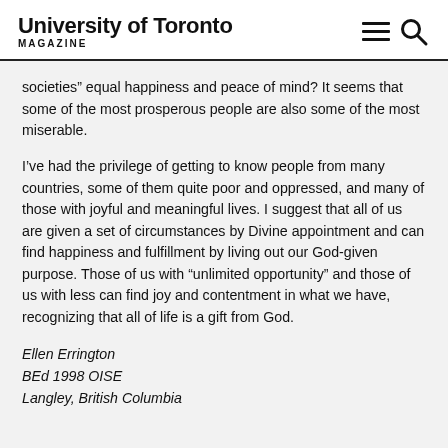University of Toronto MAGAZINE
societies” equal happiness and peace of mind? It seems that some of the most prosperous people are also some of the most miserable.
I’ve had the privilege of getting to know people from many countries, some of them quite poor and oppressed, and many of those with joyful and meaningful lives. I suggest that all of us are given a set of circumstances by Divine appointment and can find happiness and fulfillment by living out our God-given purpose. Those of us with “unlimited opportunity” and those of us with less can find joy and contentment in what we have, recognizing that all of life is a gift from God.
Ellen Errington
BEd 1998 OISE
Langley, British Columbia